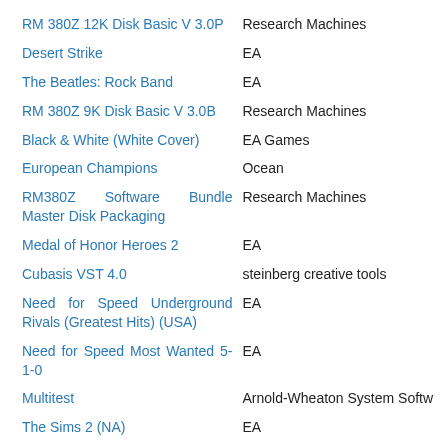| Title | Publisher |
| --- | --- |
| RM 380Z 12K Disk Basic V 3.0P | Research Machines |
| Desert Strike | EA |
| The Beatles: Rock Band | EA |
| RM 380Z 9K Disk Basic V 3.0B | Research Machines |
| Black & White (White Cover) | EA Games |
| European Champions | Ocean |
| RM380Z Software Bundle Master Disk Packaging | Research Machines |
| Medal of Honor Heroes 2 | EA |
| Cubasis VST 4.0 | steinberg creative tools |
| Need for Speed Underground Rivals (Greatest Hits) (USA) | EA |
| Need for Speed Most Wanted 5-1-0 | EA |
| Multitest | Arnold-Wheaton System Softw... |
| The Sims 2 (NA) | EA |